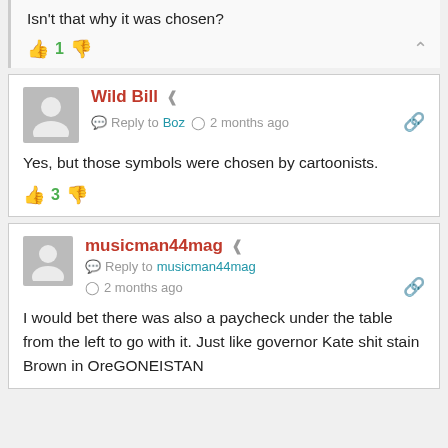Isn't that why it was chosen?
1 (vote count)
Wild Bill — Reply to Boz — 2 months ago
Yes, but those symbols were chosen by cartoonists.
3 (vote count)
musicman44mag — Reply to musicman44mag — 2 months ago
I would bet there was also a paycheck under the table from the left to go with it. Just like governor Kate shit stain Brown in OreGONEISTAN